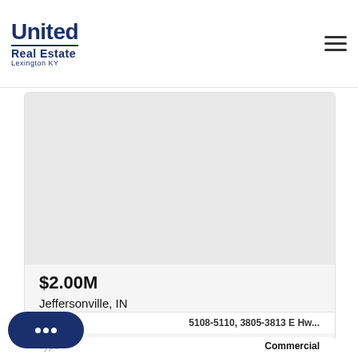United Real Estate Lexington KY
[Figure (screenshot): Blank/empty property listing image placeholder in light gray]
$2.00M
Jeffersonville, IN
5108-5110, 3805-3813 E Hw...
Type   Commercial